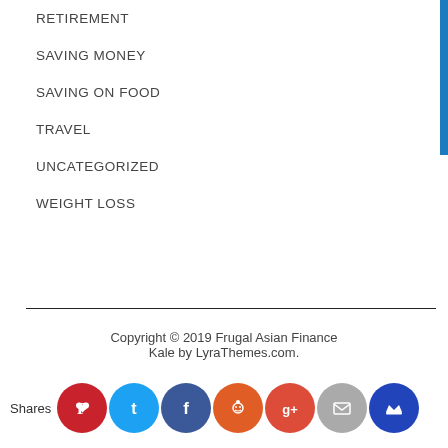RETIREMENT
SAVING MONEY
SAVING ON FOOD
TRAVEL
UNCATEGORIZED
WEIGHT LOSS
Copyright © 2019 Frugal Asian Finance
Kale by LyraThemes.com.
Shares